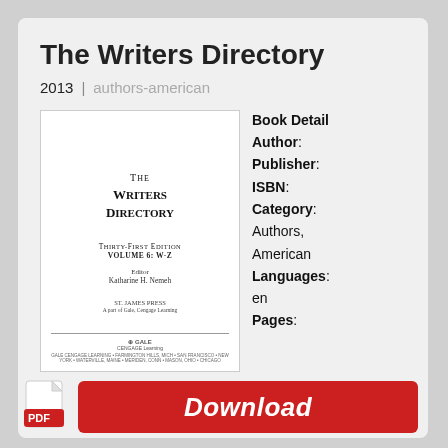The Writers Directory
2013 | authors-american
[Figure (illustration): Book cover of The Writers Directory, Thirty-First Edition, Volume 6: W-Z, Editor Katherine H. Nemeh, St. James Press, Gale Cengage Learning]
Book Detail Author: Publisher: ISBN: Category: Authors, American Languages: en Pages:
[Figure (other): Download button with PDF icon and red Download label]